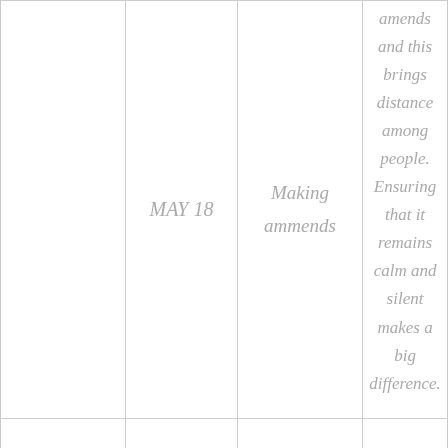|  | MAY 18 | Making ammends | amends and this brings distance among people. Ensuring that it remains calm and silent makes a big difference. |
|  |  |  |  |